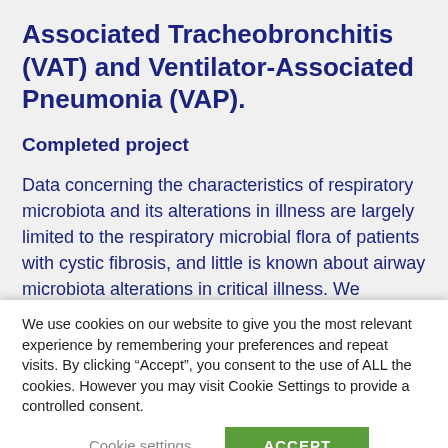Associated Tracheobronchitis (VAT) and Ventilator-Associated Pneumonia (VAP).
Completed project
Data concerning the characteristics of respiratory microbiota and its alterations in illness are largely limited to the respiratory microbial flora of patients with cystic fibrosis, and little is known about airway microbiota alterations in critical illness. We published the most comprehensive study on this topic, and found that
We use cookies on our website to give you the most relevant experience by remembering your preferences and repeat visits. By clicking “Accept”, you consent to the use of ALL the cookies. However you may visit Cookie Settings to provide a controlled consent.